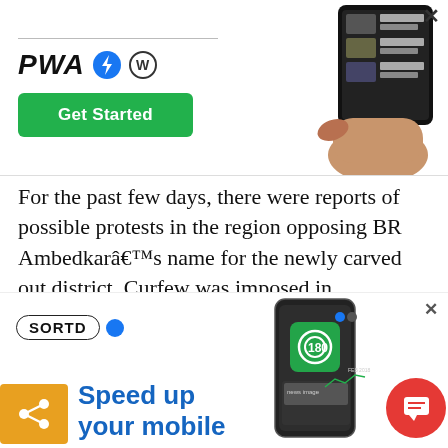[Figure (screenshot): PWA for WordPress advertisement banner with lightning bolt and WordPress icons, a green 'Get Started' button, and a hand holding a smartphone with news content]
For the past few days, there were reports of possible protests in the region opposing BR Ambedkar’s name for the newly carved out district. Curfew was imposed in Konaseema. However, people stepping out in such big numbers is a big concern.
[Figure (screenshot): SORTD advertisement banner with a blue toggle dot, a smartphone showing a green camera/task UI, an orange share button, and blue headline 'Speed up your mobile']